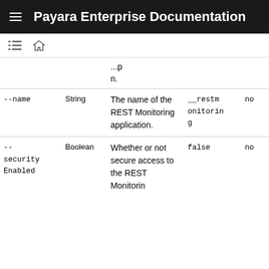Payara Enterprise Documentation
| Option | Type | Description | Default | Required |
| --- | --- | --- | --- | --- |
|  |  | ...p
n. |  |  |
| --name | String | The name of the REST Monitoring application. | __restmonitoring | no |
| --securityEnabled | Boolean | Whether or not secure access to the REST Monitorin... | false | no |